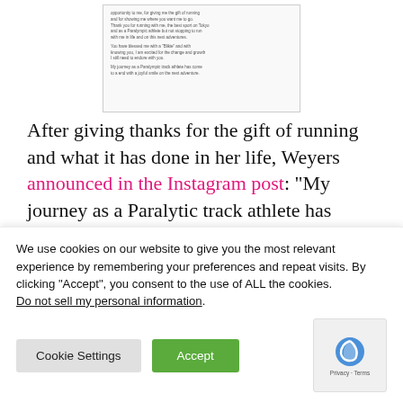[Figure (screenshot): Screenshot of an Instagram post with small handwritten-style text about a journey as a Paralytic track athlete]
After giving thanks for the gift of running and what it has done in her life, Weyers announced in the Instagram post: “My journey as a Paralytic track athlete has come to an end with a joyful smile on the next adventure.”
Weyers, who was an Albertina Sisulu Special Recognition Award winner at the gsport Awards in 2022, continues...
We use cookies on our website to give you the most relevant experience by remembering your preferences and repeat visits. By clicking “Accept”, you consent to the use of ALL the cookies.
Do not sell my personal information.